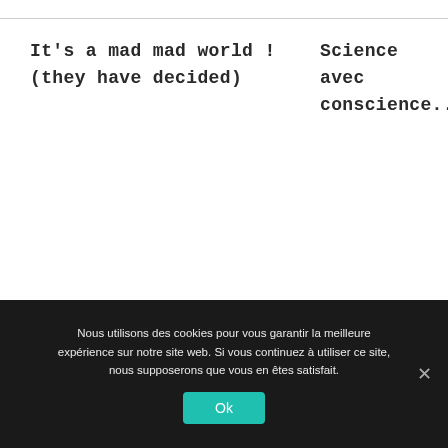It's a mad mad world ! (they have decided)
Science avec conscience...
Nous utilisons des cookies pour vous garantir la meilleure expérience sur notre site web. Si vous continuez à utiliser ce site, nous supposerons que vous en êtes satisfait.